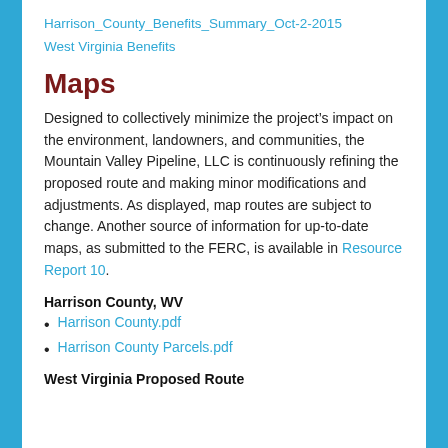Harrison_County_Benefits_Summary_Oct-2-2015
West Virginia Benefits
Maps
Designed to collectively minimize the project’s impact on the environment, landowners, and communities, the Mountain Valley Pipeline, LLC is continuously refining the proposed route and making minor modifications and adjustments. As displayed, map routes are subject to change. Another source of information for up-to-date maps, as submitted to the FERC, is available in Resource Report 10.
Harrison County, WV
Harrison County.pdf
Harrison County Parcels.pdf
West Virginia Proposed Route